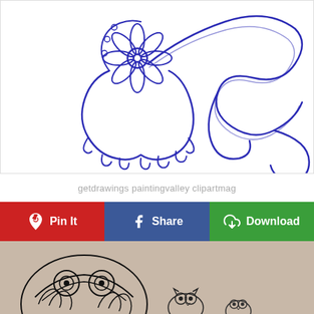[Figure (illustration): Blue ink sketch of a flower with petals and decorative swirling flourish curl extending to the right, drawn on white background]
getdrawings paintingvalley clipartmag
[Figure (infographic): Three social sharing buttons in a row: red Pinterest 'Pin It' button with Pinterest icon, blue Facebook 'Share' button with Facebook icon, green 'Download' button with cloud download icon]
[Figure (illustration): Partial view of a decorative black ink zentangle/mandala artwork featuring owl-like figures with intricate patterns on a beige/tan background]